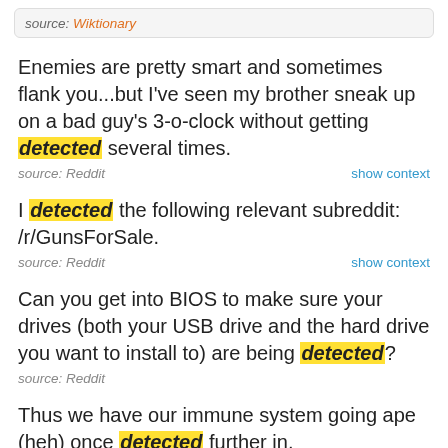source: Wiktionary
Enemies are pretty smart and sometimes flank you...but I've seen my brother sneak up on a bad guy's 3-o-clock without getting detected several times.
source: Reddit | show context
I detected the following relevant subreddit: /r/GunsForSale.
source: Reddit | show context
Can you get into BIOS to make sure your drives (both your USB drive and the hard drive you want to install to) are being detected?
source: Reddit
Thus we have our immune system going ape (heh) once detected further in.
source: Reddit | show context